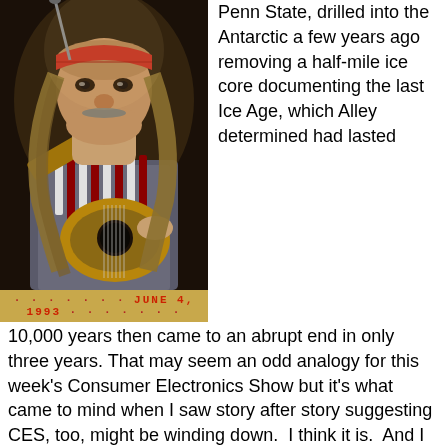[Figure (photo): Willie Nelson performing on stage, wearing a red bandana headband, long braided hair, beaded necklaces, and a gray t-shirt, playing an acoustic guitar. Photo dated JUNE 4, 1993 in a yellow caption bar at the bottom.]
Penn State, drilled into the Antarctic a few years ago removing a half-mile ice core documenting the last Ice Age, which Alley determined had lasted 10,000 years then came to an abrupt end in only three years. That may seem an odd analogy for this week's Consumer Electronics Show but it's what came to mind when I saw story after story suggesting CES, too, might be winding down.  I think it is.  And I further think that maybe the only thing that might yet save CES in some form is Willie Nelson, or maybe Taylor Swift.
Huh?